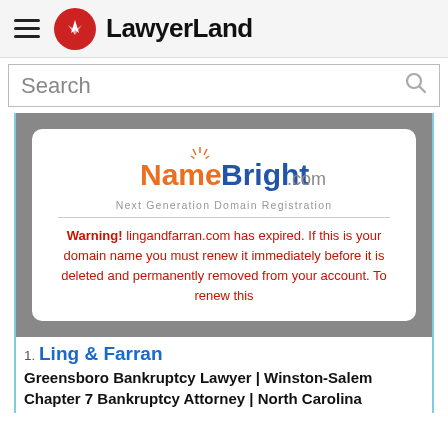LawyerLand
Search
[Figure (screenshot): NameBright.com domain expiration warning page. Shows NameBright.com logo with tagline 'Next Generation Domain Registration', followed by a red warning message: 'Warning! lingandfarran.com has expired. If this is your domain name you must renew it immediately before it is deleted and permanently removed from your account. To renew this']
1. Ling & Farran
Greensboro Bankruptcy Lawyer | Winston-Salem Chapter 7 Bankruptcy Attorney | North Carolina